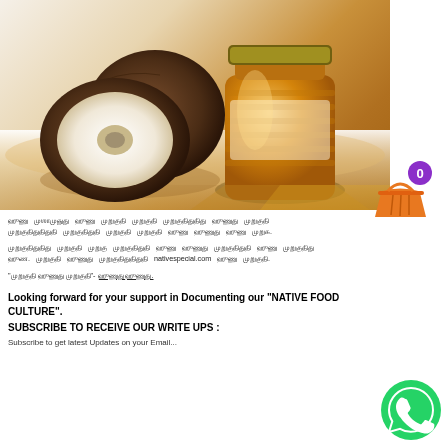[Figure (photo): A split coconut showing white flesh and a glass jar of honey on a wooden surface background]
[Figure (illustration): Shopping cart icon with orange basket and purple badge showing number 0]
Tamil script text block 1 (indistinct/encoded characters)
Tamil script text block 2 with nativespecial.com reference
Quoted Tamil text with underline
Looking forward for your support in Documenting our "NATIVE FOOD CULTURE".
SUBSCRIBE TO RECEIVE OUR WRITE UPS :
Subscribe to get latest Updates on your Email...
[Figure (logo): WhatsApp green circle logo icon]